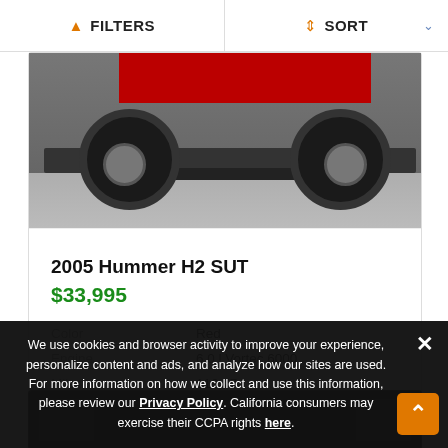FILTERS   SORT
[Figure (photo): Bottom portion of a red Hummer H2 SUT showing tires and undercarriage in a garage setting]
2005 Hummer H2 SUT
$33,995
| Color | Red |
| Engine | 6.0 l Vortec 6000 |
| Miles | 116,774 |
[Figure (photo): Partial view of another vehicle listing card below, dark background]
We use cookies and browser activity to improve your experience, personalize content and ads, and analyze how our sites are used. For more information on how we collect and use this information, please review our Privacy Policy. California consumers may exercise their CCPA rights here.